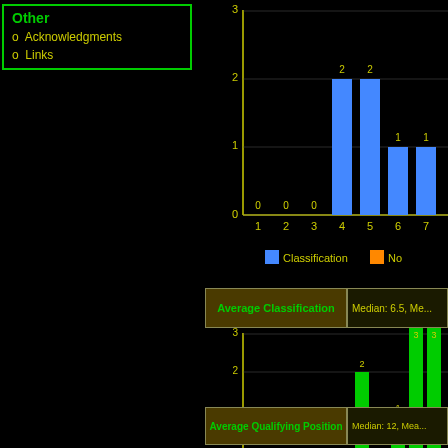Other
 o Acknowledgments
 o Links
[Figure (bar-chart): Classification]
Classification   No...
| Average Classification | Median: 6.5, Me... |
| --- | --- |
[Figure (bar-chart): Qualification p...]
Qualification p...
| Average Qualifying Position | Median: 12, Mea... |
| --- | --- |